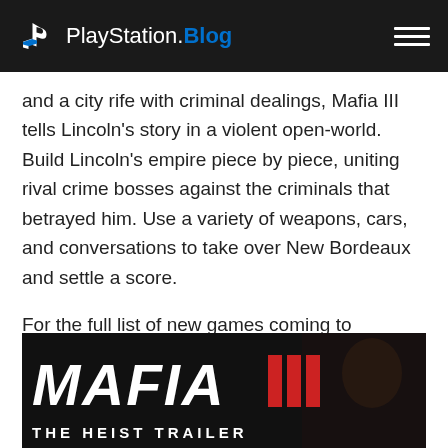PlayStation.Blog
and a city rife with criminal dealings, Mafia III tells Lincoln's story in a violent open-world. Build Lincoln's empire piece by piece, uniting rival crime bosses against the criminals that betrayed him. Use a variety of weapons, cars, and conversations to take over New Bordeaux and settle a score.
For the full list of new games coming to PlayStation this week, read on. And enjoy the Drop.
[Figure (photo): Mafia III: The Heist Trailer promotional image with large bold white 'MAFIA' text and red Roman numeral III on a dark background, subtitle 'THE HEIST TRAILER' below]